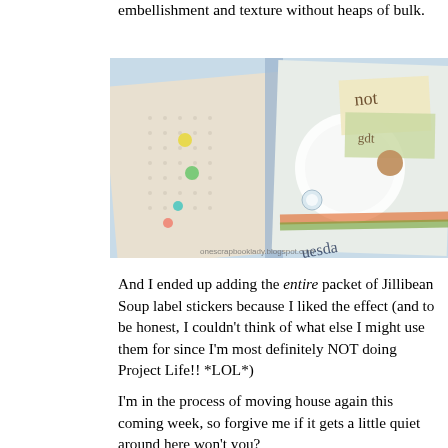embellishment and texture without heaps of bulk.
[Figure (photo): Close-up photo of scrapbook pages showing decorative elements including colorful enamel dots, label stickers with handwriting, patterned papers, and embellishments. Watermark reads onescrapbooklady.blogspot.com]
And I ended up adding the entire packet of Jillibean Soup label stickers because I liked the effect (and to be honest, I couldn't think of what else I might use them for since I'm most definitely NOT doing Project Life!! *LOL*)
I'm in the process of moving house again this coming week, so forgive me if it gets a little quiet around here won't you?